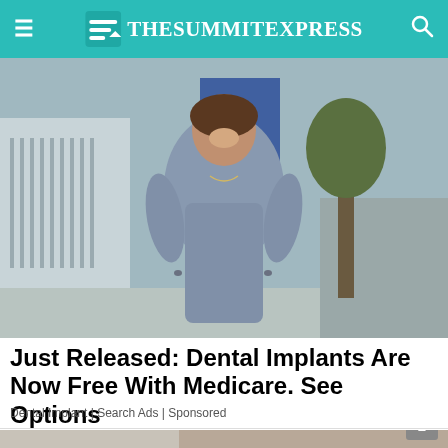TheSummitExpress
[Figure (photo): Woman in light blue short-sleeve fitted dress standing on a sidewalk outdoors, smiling, with a tree and street visible in the background]
Just Released: Dental Implants Are Now Free With Medicare. See Options
Dental Implant | Search Ads | Sponsored
[Figure (photo): Two-panel image showing white jeans on the left and a foot wearing a white woven slip-on sneaker on the right, on a sidewalk]